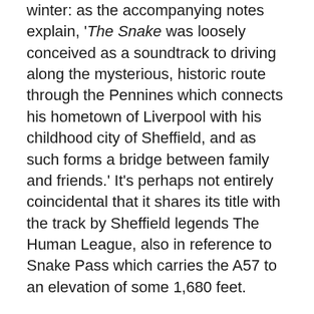winter: as the accompanying notes explain, 'The Snake was loosely conceived as a soundtrack to driving along the mysterious, historic route through the Pennines which connects his hometown of Liverpool with his childhood city of Sheffield, and as such forms a bridge between family and friends.' It's perhaps not entirely coincidental that it shares its title with the track by Sheffield legends The Human League, also in reference to Snake Pass which carries the A57 to an elevation of some 1,680 feet.
Mitternacht – the solo vehicle for one of the members of Liverpool band Rongorongo – captures the mood in nine compositions, and it's not just a linear journey, but a journey through time, with nods to aspects of the road's history as well as it's geography and geology.
'The Turnpike' refers to the original name of the pass, the